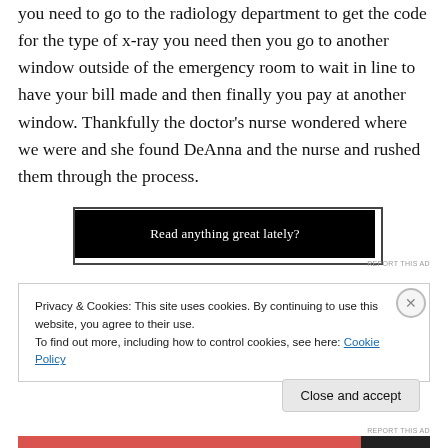you need to go to the radiology department to get the code for the type of x-ray you need then you go to another window outside of the emergency room to wait in line to have your bill made and then finally you pay at another window. Thankfully the doctor's nurse wondered where we were and she found DeAnna and the nurse and rushed them through the process.
[Figure (infographic): Black advertisement banner with white text reading 'Read anything great lately?']
REPORT THIS AD
Privacy & Cookies: This site uses cookies. By continuing to use this website, you agree to their use.
To find out more, including how to control cookies, see here: Cookie Policy
Close and accept